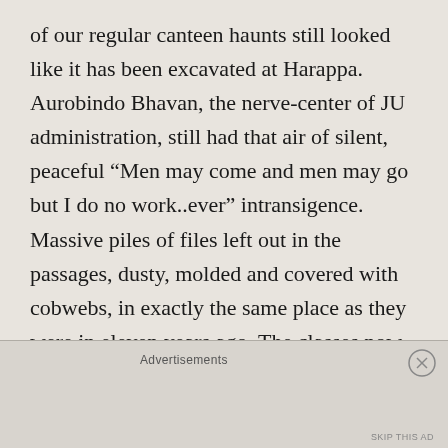of our regular canteen haunts still looked like it has been excavated at Harappa. Aurobindo Bhavan, the nerve-center of JU administration, still had that air of silent, peaceful “Men may come and men may go but I do no work..ever” intransigence. Massive piles of files left out in the passages, dusty, molded and covered with cobwebs, in exactly the same place as they were in eleven years ago. The classes now had air conditioners (that’s new) but as a professor
Advertisements